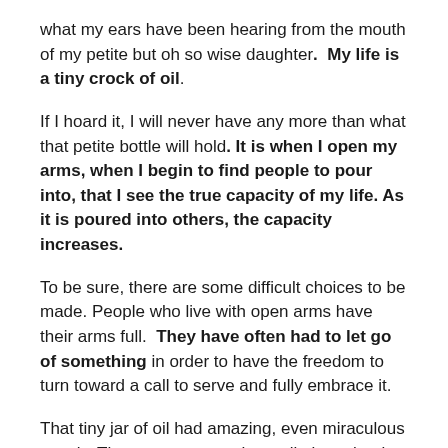what my ears have been hearing from the mouth of my petite but oh so wise daughter. My life is a tiny crock of oil.
If I hoard it, I will never have any more than what that petite bottle will hold. It is when I open my arms, when I begin to find people to pour into, that I see the true capacity of my life. As it is poured into others, the capacity increases.
To be sure, there are some difficult choices to be made. People who live with open arms have their arms full. They have often had to let go of something in order to have the freedom to turn toward a call to serve and fully embrace it.
That tiny jar of oil had amazing, even miraculous supply. The resource was there all along, but it was only when